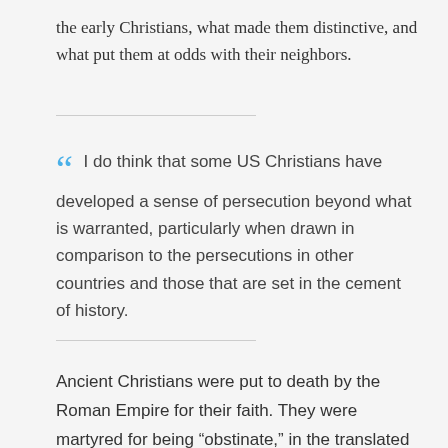the early Christians, what made them distinctive, and what put them at odds with their neighbors.
I do think that some US Christians have developed a sense of persecution beyond what is warranted, particularly when drawn in comparison to the persecutions in other countries and those that are set in the cement of history.
Ancient Christians were put to death by the Roman Empire for their faith. They were martyred for being “obstinate,” in the translated words of the much venerated (even now) stoic philosopher and Roman